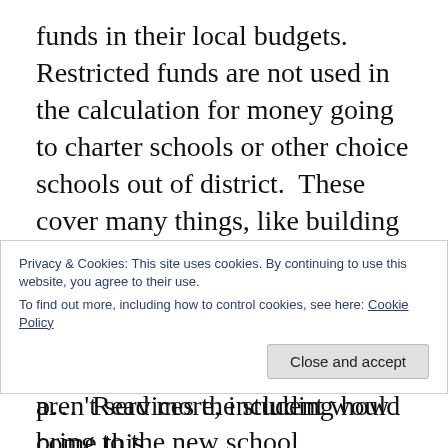funds in their local budgets.  Restricted funds are not used in the calculation for money going to charter schools or other choice schools out of district.  These cover many things, like building maintenance, consultants, and food services as a few examples.  These are district expenses that only affect the district.  These aren't services the student would bring to the new school
Privacy & Cookies: This site uses cookies. By continuing to use this website, you agree to their use.
To find out more, including how to control cookies, see here: Cookie Policy
p...y...  Read more, including how come this